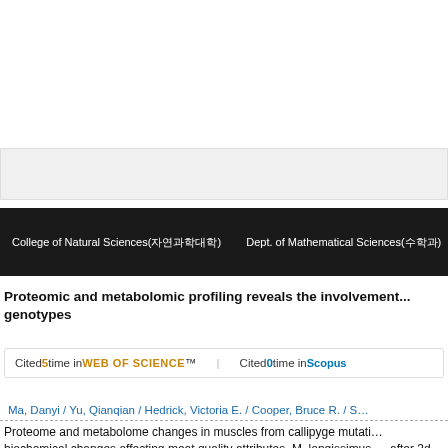College of Natural Sciences(자연과학대학)   Dept. of Mathematical Sciences(수학과)
Proteomic and metabolomic profiling reveals the involvement... genotypes
Cited 5 time in WEB OF SCIENCE   Cited 0 time in Scopus
Ma, Danyi / Yu, Qianqian / Hedrick, Victoria E. / Cooper, Bruce R. / S...
Proteome and metabolome changes in muscles from callipyge mutati... biochemical changes affecting meat quality attributes. M. longissimus ... after 3d aging and analyzed using mass-spectrometry based platform ... based proteins/Ca-Actin, actin, HSP70, PAC8 and PARK7...